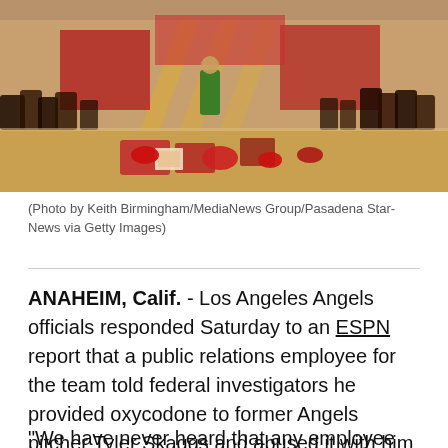[Figure (photo): Crowd of people gathered around a memorial outside Angel Stadium with red hats, helmets, flowers, and framed photos on the ground]
(Photo by Keith Birmingham/MediaNews Group/Pasadena Star-News via Getty Images)
ANAHEIM, Calif. - Los Angeles Angels officials responded Saturday to an ESPN report that a public relations employee for the team told federal investigators he provided oxycodone to former Angels pitcher Tyler Skaggs and abused it with him for years. The report also mentions that two team officials were told about Skaggs' drug use long before his death in July.
"We have never heard that any employee was